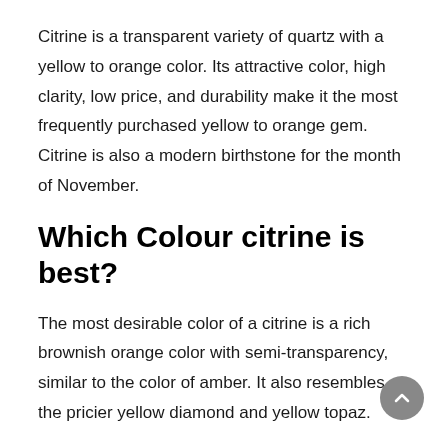Citrine is a transparent variety of quartz with a yellow to orange color. Its attractive color, high clarity, low price, and durability make it the most frequently purchased yellow to orange gem. Citrine is also a modern birthstone for the month of November.
Which Colour citrine is best?
The most desirable color of a citrine is a rich brownish orange color with semi-transparency, similar to the color of amber. It also resembles the pricier yellow diamond and yellow topaz.